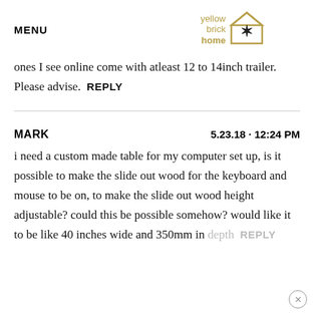MENU | yellow brick home logo
ones I see online come with atleast 12 to 14inch trailer. Please advise.  REPLY
MARK   5.23.18 · 12:24 PM
i need a custom made table for my computer set up, is it possible to make the slide out wood for the keyboard and mouse to be on, to make the slide out wood height adjustable? could this be possible somehow? would like it to be like 40 inches wide and 350mm in depth  REPLY